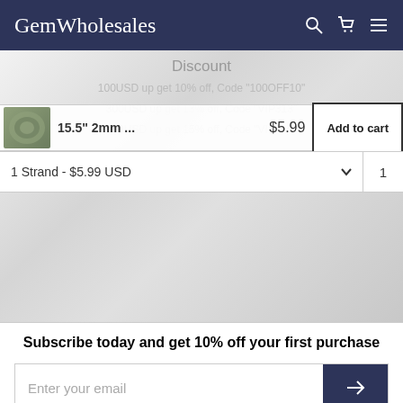GemWholesales
[Figure (screenshot): Product listing area with marble background, showing a product thumbnail, product title '15.5" 2mm ...', price $5.99, Add to cart button, and a discount popup overlay showing discount codes]
Discount
100USD up get 10% off, Code "100OFF10"
300USD up get 13% off, Code "VIP313"
500USD up get 15% off, Code "VIP515"
15.5" 2mm ...
$5.99
Add to cart
1 Strand - $5.99 USD
1
Subscribe today and get 10% off your first purchase
Enter your email